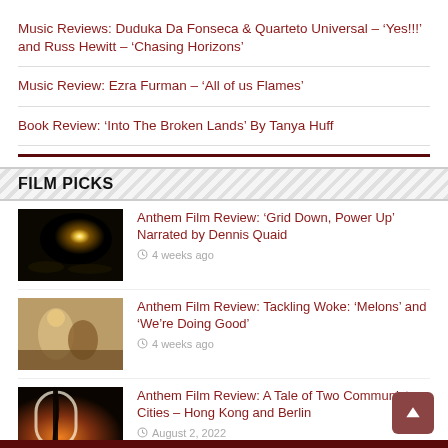Music Reviews: Duduka Da Fonseca & Quarteto Universal – 'Yes!!!' and Russ Hewitt – 'Chasing Horizons'
Music Review: Ezra Furman – 'All of us Flames'
Book Review: 'Into The Broken Lands' By Tanya Huff
FILM PICKS
[Figure (photo): Dark night sky image with glowing light, possibly moon or fireball, with silhouetted landscape below]
Anthem Film Review: 'Grid Down, Power Up' Narrated by Dennis Quaid
4 weeks ago
[Figure (photo): Two people outdoors, one in light-colored robe/cape, urban setting]
Anthem Film Review: Tackling Woke: 'Melons' and 'We're Doing Good'
4 weeks ago
[Figure (photo): Architectural image with archway silhouette against warm sunset light, with dark vertical crack/tear overlay]
Anthem Film Review: A Tale of Two Communist Cities – Hong Kong and Berlin
August 2, 2022